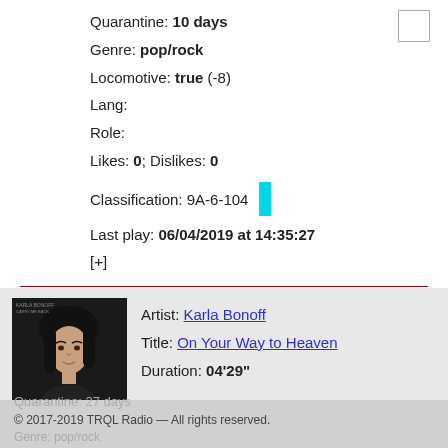Quarantine: 10 days
Genre: pop/rock
Locomotive: true (-8)
Lang:
Role:
Likes: 0; Dislikes: 0
Classification: 9A-6-104
Last play: 06/04/2019 at 14:35:27
[+]
Artist: Karla Bonoff
Title: On Your Way to Heaven
Duration: 04'29"
© 2017-2019 TRQL Radio — All rights reserved.